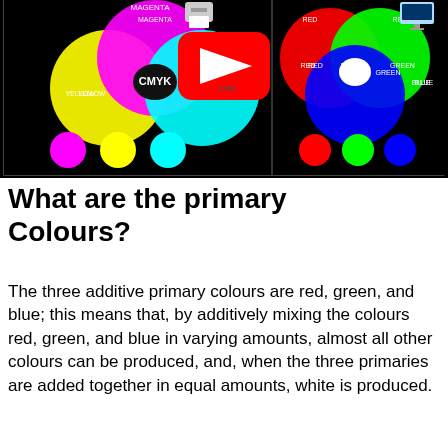[Figure (illustration): YouTube thumbnail showing CMYK color model on the left half (overlapping circles of yellow, magenta, cyan on black background with labels YELLOW, MAGENTA, CYAN, CMYK, and smaller separate circles below) and RGB color model on the right half (overlapping circles of red, green, blue on black background with labels RED, GREEN, BLUE, RGB, and smaller separate circles below). A YouTube play button overlay is in the center. A printer icon appears top-center-left and a monitor icon top-right.]
What are the primary Colours?
The three additive primary colours are red, green, and blue; this means that, by additively mixing the colours red, green, and blue in varying amounts, almost all other colours can be produced, and, when the three primaries are added together in equal amounts, white is produced.